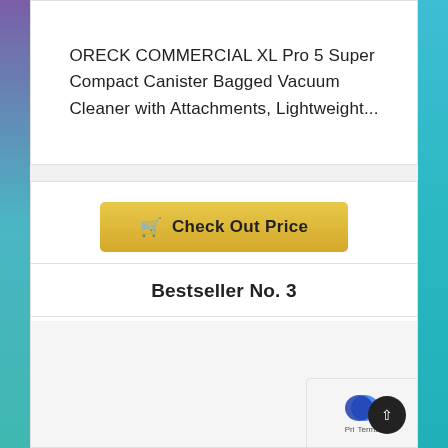ORECK COMMERCIAL XL Pro 5 Super Compact Canister Bagged Vacuum Cleaner with Attachments, Lightweight...
Check Out Price
Bestseller No. 3